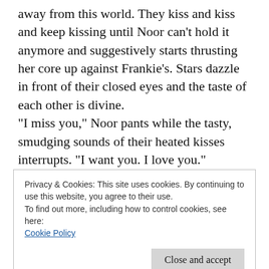away from this world. They kiss and kiss and keep kissing until Noor can't hold it anymore and suggestively starts thrusting her core up against Frankie's. Stars dazzle in front of their closed eyes and the taste of each other is divine.
"I miss you," Noor pants while the tasty, smudging sounds of their heated kisses interrupts. "I want you. I love you."
Frankie hears the words and abruptly stops the making out. She's out of breath and completely taken over by desire, but this is the first time Noor actually said those
Privacy & Cookies: This site uses cookies. By continuing to use this website, you agree to their use.
To find out more, including how to control cookies, see here:
Cookie Policy
Close and accept